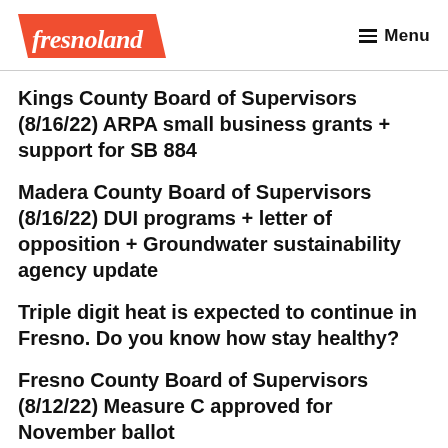fresnoland | Menu
Kings County Board of Supervisors (8/16/22) ARPA small business grants + support for SB 884
Madera County Board of Supervisors (8/16/22) DUI programs + letter of opposition + Groundwater sustainability agency update
Triple digit heat is expected to continue in Fresno. Do you know how stay healthy?
Fresno County Board of Supervisors (8/12/22) Measure C approved for November ballot